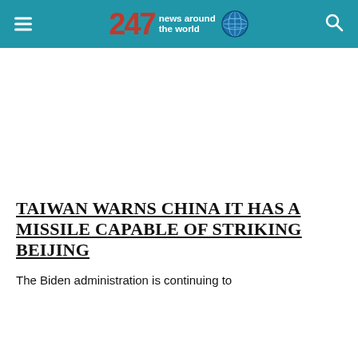247 news around the world
TAIWAN WARNS CHINA IT HAS A MISSILE CAPABLE OF STRIKING BEIJING
The Biden administration is continuing to